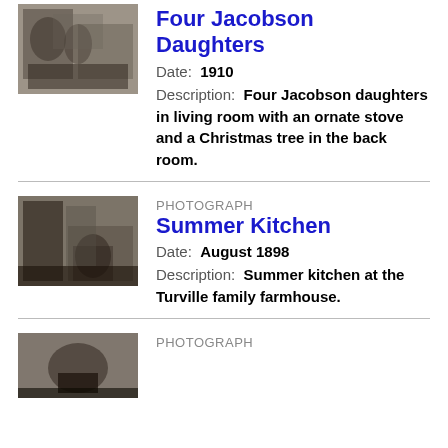[Figure (photo): Black and white photograph of four Jacobson daughters in a living room with an ornate stove and Christmas tree in the back room, circa 1910.]
Four Jacobson Daughters
Date:  1910
Description:  Four Jacobson daughters in living room with an ornate stove and a Christmas tree in the back room.
[Figure (photo): Black and white photograph of a summer kitchen at the Turville family farmhouse, August 1898.]
Summer Kitchen
Date:  August 1898
Description:  Summer kitchen at the Turville family farmhouse.
[Figure (photo): Black and white photograph, partially visible at bottom of page.]